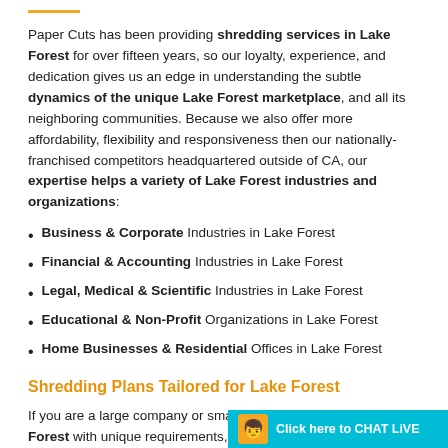Paper Cuts has been providing shredding services in Lake Forest for over fifteen years, so our loyalty, experience, and dedication gives us an edge in understanding the subtle dynamics of the unique Lake Forest marketplace, and all its neighboring communities. Because we also offer more affordability, flexibility and responsiveness then our nationally-franchised competitors headquartered outside of CA, our expertise helps a variety of Lake Forest industries and organizations:
Business & Corporate Industries in Lake Forest
Financial & Accounting Industries in Lake Forest
Legal, Medical & Scientific Industries in Lake Forest
Educational & Non-Profit Organizations in Lake Forest
Home Businesses & Residential Offices in Lake Forest
Shredding Plans Tailored for Lake Forest
If you are a large company or small organization based in Lake Forest with unique requirements, we can customize a "set it and forget it" schedule for your document shredding needs. Our plans are affordable and convenient to fit your specific needs in Lake Forest whether y...